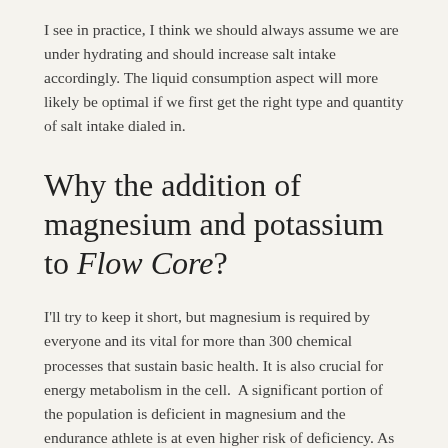I see in practice, I think we should always assume we are under hydrating and should increase salt intake accordingly. The liquid consumption aspect will more likely be optimal if we first get the right type and quantity of salt intake dialed in.
Why the addition of magnesium and potassium to Flow Core?
I'll try to keep it short, but magnesium is required by everyone and its vital for more than 300 chemical processes that sustain basic health. It is also crucial for energy metabolism in the cell.  A significant portion of the population is deficient in magnesium and the endurance athlete is at even higher risk of deficiency. As far as potassium goes—it plays a crucial role in nerve functioning, glycogen processing, fluid regulation, and blood pressure regulation. Many studies confirm the fact that replenishing potassium during exercise makes a difference in performance, especially in maximizing output at high intensity for...